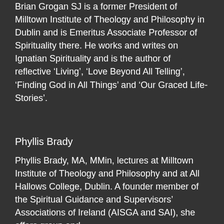Brian Grogan SJ is a former President of Milltown Institute of Theology and Philosophy in Dublin and is Emeritus Associate Professor of Spirituality there. He works and writes on Ignatian Spirituality and is the author of reflective ‘Living’, ‘Love Beyond All Telling’, ‘Finding God in All Things’ and ‘Our Graced Life-Stories’.
Phyllis Brady
Phyllis Brady, MA, MMin, lectures at Milltown Institute of Theology and Philosophy and at All Hallows College, Dublin. A founder member of the Spiritual Guidance and Supervisors’ Associations of Ireland (AISGA and SAI), she offers group and